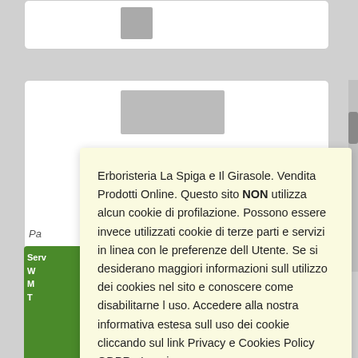[Figure (screenshot): Partial view of a web product card with gray placeholder image at top of page]
Erboristeria La Spiga e Il Girasole. Vendita Prodotti Online. Questo sito NON utilizza alcun cookie di profilazione. Possono essere invece utilizzati cookie di terze parti e servizi in linea con le preferenze dell Utente. Se si desiderano maggiori informazioni sull utilizzo dei cookies nel sito e conoscere come disabilitarne l uso. Accedere alla nostra informativa estesa sull uso dei cookie cliccando sul link Privacy e Cookies Policy GDPR. Leggi
Rifiuta
Chiudi